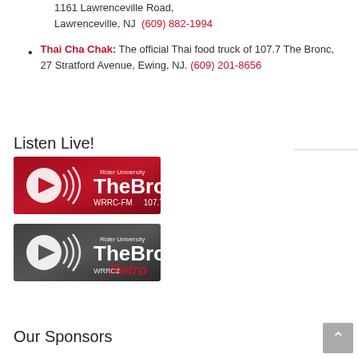1161 Lawrenceville Road, Lawrenceville, NJ  (609) 882-1994
Thai Cha Chak: The official Thai food truck of 107.7 The Bronc, 27 Stratford Avenue, Ewing, NJ. (609) 201-8656
Listen Live!
[Figure (logo): The Bronc WRRC-FM 107.7 FM radio station banner with play button icon, red background, Rider University]
[Figure (logo): The Bronc Retro WRRC2 radio station banner with play button icon, dark grey background, Rider University]
Our Sponsors